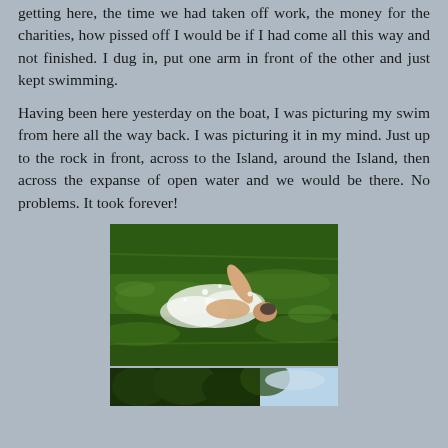getting here, the time we had taken off work, the money for the charities, how pissed off I would be if I had come all this way and not finished. I dug in, put one arm in front of the other and just kept swimming.
Having been here yesterday on the boat, I was picturing my swim from here all the way back. I was picturing it in my mind. Just up to the rock in front, across to the Island, around the Island, then across the expanse of open water and we would be there. No problems. It took forever!
[Figure (photo): A swimmer doing the crawl stroke in open water, green water visible, person's arm raised mid-stroke]
[Figure (photo): Partial view of another outdoor photo, showing trees and sky at the bottom of the page]